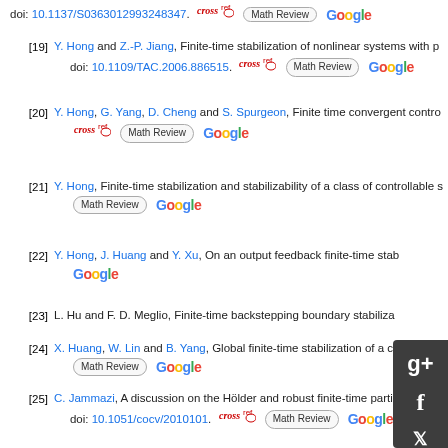[19] Y. Hong and Z.-P. Jiang, Finite-time stabilization of nonlinear systems with p... doi: 10.1109/TAC.2006.886515.
[20] Y. Hong, G. Yang, D. Cheng and S. Spurgeon, Finite time convergent contro...
[21] Y. Hong, Finite-time stabilization and stabilizability of a class of controllable s...
[22] Y. Hong, J. Huang and Y. Xu, On an output feedback finite-time stab...
[23] L. Hu and F. D. Meglio, Finite-time backstepping boundary stabiliza...
[24] X. Huang, W. Lin and B. Yang, Global finite-time stabilization of a cla...
[25] C. Jammazi, A discussion on the Hölder and robust finite-time partia... doi: 10.1051/cocv/2010101.
[26] C. Jammazi, A simple proof of finite-time stabilizability of without drif... 1306.
[27] C. Jammazi, Continuous and discontinuous homogeneous feedbacks finite-... doi: 10.1137/110856393.
[28] C. Jammazi, Some results on finite-time stabilizability: Application to triangul... doi: 10.1093/imamci/dnp025.